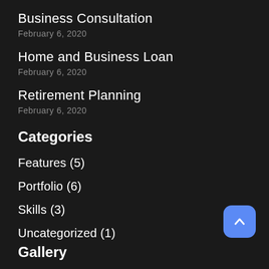Business Consultation
February 6, 2020
Home and Business Loan
February 6, 2020
Retirement Planning
February 6, 2020
Categories
Features (5)
Portfolio (6)
Skills (3)
Uncategorized (1)
Gallery